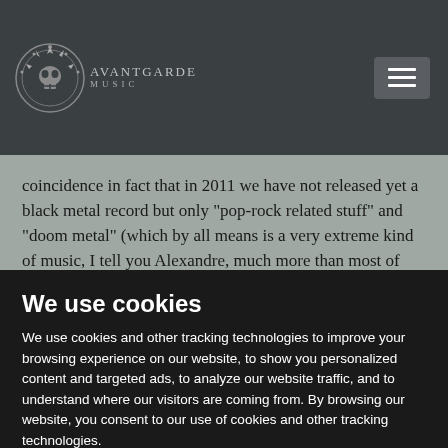AVANTGARDE
coincidence in fact that in 2011 we have not released yet a black metal record but only “pop-rock related stuff” and “doom metal” (which by all means is a very extreme kind of music, I tell you Alexandre, much more than most of black metal bands have proven to be on stage for
We use cookies
We use cookies and other tracking technologies to improve your browsing experience on our website, to show you personalized content and targeted ads, to analyze our website traffic, and to understand where our visitors are coming from. By browsing our website, you consent to our use of cookies and other tracking technologies.
I agree
Change my preferences